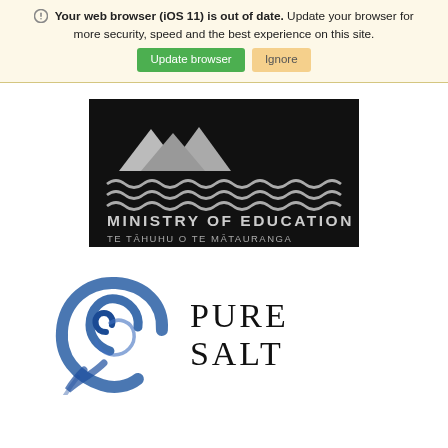Your web browser (iOS 11) is out of date. Update your browser for more security, speed and the best experience on this site.
[Figure (logo): Ministry of Education / Te Tahuhu o te Matauranga logo on black background with triangle mountain shapes and wave lines]
[Figure (logo): Pure Salt logo with blue wave/spiral icon and 'PURE SALT' text in serif font]